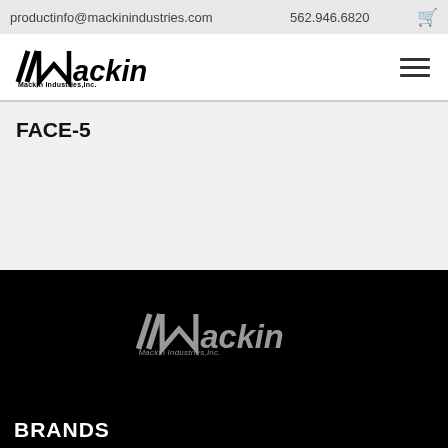productinfo@mackinindustries.com   562.946.6820
[Figure (logo): Mackin Industries, Inc. logo with stylized slanted M and company name]
FACE-5
[Figure (logo): Mackin Industries, Inc. white/grey logo on black background in footer]
BRANDS